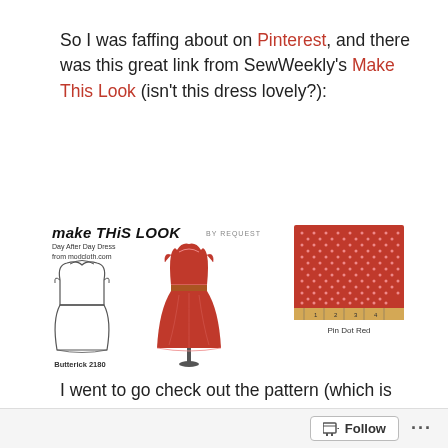So I was faffing about on Pinterest, and there was this great link from SewWeekly's Make This Look (isn't this dress lovely?):
[Figure (illustration): A 'Make This Look by request' card showing a sewing pattern sketch of a dress (Butterick 2180 - Day After Day Dress from modcloth.com), a photo of a red dress on a mannequin, and a swatch of Pin Dot Red fabric with a ruler]
I went to go check out the pattern (which is